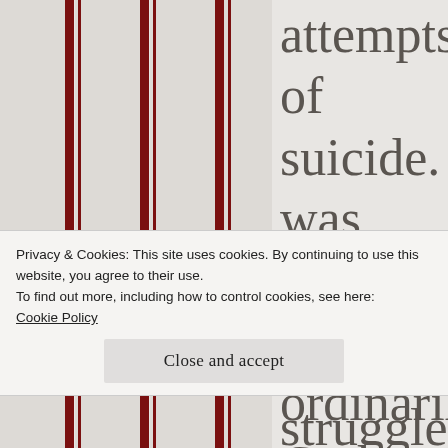attempts of suicide. I was taught that ordinarily God wants you to work
Privacy & Cookies: This site uses cookies. By continuing to use this website, you agree to their use.
To find out more, including how to control cookies, see here: Cookie Policy
Close and accept
struggled